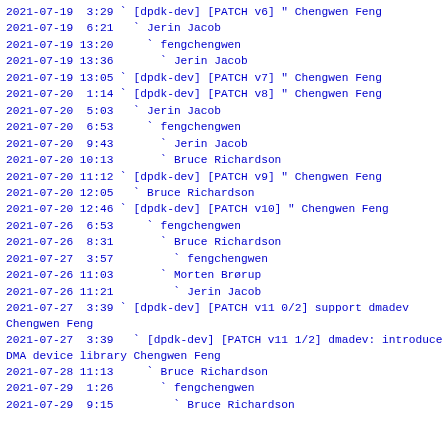2021-07-19  3:29 ` [dpdk-dev] [PATCH v6] " Chengwen Feng
2021-07-19  6:21   ` Jerin Jacob
2021-07-19 13:20     ` fengchengwen
2021-07-19 13:36       ` Jerin Jacob
2021-07-19 13:05 ` [dpdk-dev] [PATCH v7] " Chengwen Feng
2021-07-20  1:14 ` [dpdk-dev] [PATCH v8] " Chengwen Feng
2021-07-20  5:03   ` Jerin Jacob
2021-07-20  6:53     ` fengchengwen
2021-07-20  9:43       ` Jerin Jacob
2021-07-20 10:13       ` Bruce Richardson
2021-07-20 11:12 ` [dpdk-dev] [PATCH v9] " Chengwen Feng
2021-07-20 12:05   ` Bruce Richardson
2021-07-20 12:46 ` [dpdk-dev] [PATCH v10] " Chengwen Feng
2021-07-26  6:53     ` fengchengwen
2021-07-26  8:31       ` Bruce Richardson
2021-07-27  3:57         ` fengchengwen
2021-07-26 11:03       ` Morten Brørup
2021-07-26 11:21         ` Jerin Jacob
2021-07-27  3:39 ` [dpdk-dev] [PATCH v11 0/2] support dmadev Chengwen Feng
2021-07-27  3:39   ` [dpdk-dev] [PATCH v11 1/2] dmadev: introduce DMA device library Chengwen Feng
2021-07-28 11:13     ` Bruce Richardson
2021-07-29  1:26       ` fengchengwen
2021-07-29  9:15         ` Bruce Richardson